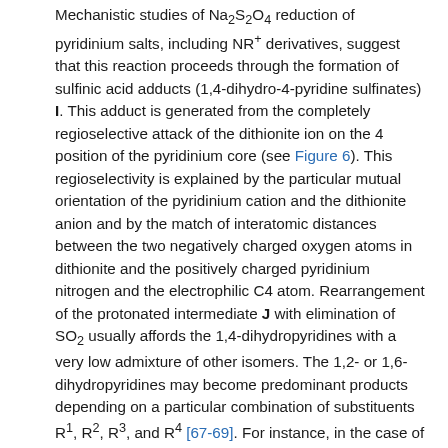Mechanistic studies of Na2S2O4 reduction of pyridinium salts, including NR+ derivatives, suggest that this reaction proceeds through the formation of sulfinic acid adducts (1,4-dihydro-4-pyridine sulfinates) I. This adduct is generated from the completely regioselective attack of the dithionite ion on the 4 position of the pyridinium core (see Figure 6). This regioselectivity is explained by the particular mutual orientation of the pyridinium cation and the dithionite anion and by the match of interatomic distances between the two negatively charged oxygen atoms in dithionite and the positively charged pyridinium nitrogen and the electrophilic C4 atom. Rearrangement of the protonated intermediate J with elimination of SO2 usually affords the 1,4-dihydropyridines with a very low admixture of other isomers. The 1,2- or 1,6-dihydropyridines may become predominant products depending on a particular combination of substituents R1, R2, R3, and R4 [67-69]. For instance, in the case of starting substrate H, in which R1, R3, R4 = Me and R2 = CN, the reduced product contained 70% of 1,2-dihydropyridine and 30% of 1,4-dihydropyridine as established by NMR spectral analysis. Reduction of N1-methyl-3-carbamoylpyridinium iodide, R1 = Me, R3 = C(O)NH2, across a mixture of f